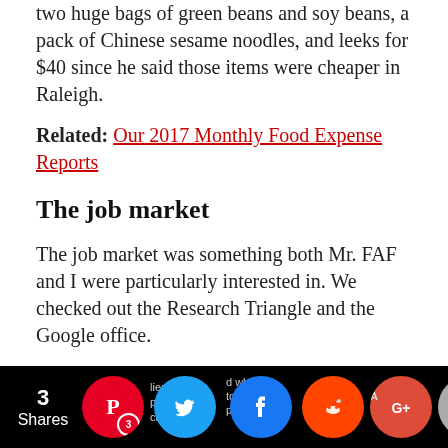two huge bags of green beans and soy beans, a pack of Chinese sesame noodles, and leeks for $40 since he said those items were cheaper in Raleigh.
Related: Our 2017 Monthly Food Expense Reports
The job market
The job market was something both Mr. FAF and I were particularly interested in. We checked out the Research Triangle and the Google office.
I know I can't judge a book by its cover. But I was a bit disappointed when I saw the Research Triangle. I think it's mainly because we visited during the weekend, so there was literally no one and virtually no car there.
I think part of it might be that I'm used to seeing tall buildings with lots of people walking around and a myriad of restaurants and shops in DC. Seeing that
[Figure (infographic): Social sharing bar with share count (3 Shares) and social media icons: Pinterest (with badge '3'), Twitter, Facebook, Reddit, Google+, Email, Crown/other. Overlapping text snippets visible behind icons.]